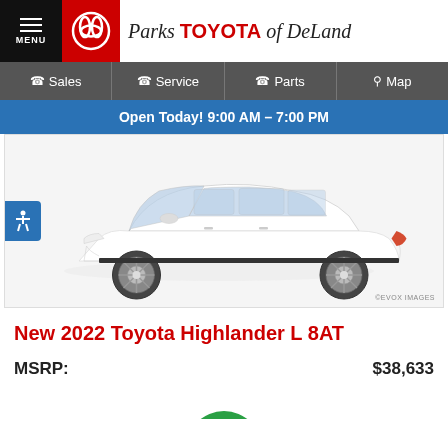MENU | Parks Toyota of DeLand
Sales | Service | Parts | Map
Open Today! 9:00 AM - 7:00 PM
[Figure (photo): Side profile of a white 2022 Toyota Highlander L SUV on a white background. EVOX IMAGES watermark at bottom right.]
New 2022 Toyota Highlander L 8AT
MSRP: $38,633